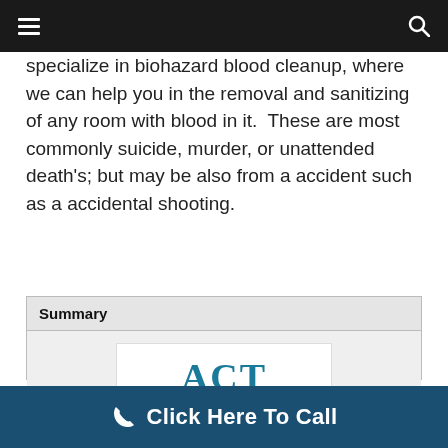Navigation bar with hamburger menu and search icon
specialize in biohazard blood cleanup, where we can help you in the removal and sanitizing of any room with blood in it. These are most commonly suicide, murder, or unattended death's; but may be also from a accident such as a accidental shooting.
| Summary |
| --- |
| ACT Crime Scene Cleaners logo |
[Figure (logo): ACT Crime Scene Cleaners logo — large bold teal 'ACT' text above smaller bold teal 'Crime Scene Cleaners' text on white background]
Click Here To Call